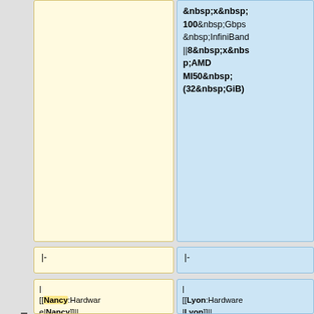&nbsp;x&nbsp;100&nbsp;Gbps &nbsp;InfiniBand ||8&nbsp;x&nbsp;AMD MI50&nbsp;(32&nbsp;GiB)
|-
|-
| [[Nancy:Hardware|Nancy]]|| [[Nancy:Hardware#graphene|graphene]]||default||2011-01-20||131||Intel&nbsp;Xeon&nbsp;X3440||4&nbsp;cores/CPU||16&nbsp;GB||data-sort-value="298"|298
| [[Lyon:Hardware|Lyon]]|| [[Lyon:Hardware#nova|nova]]||||2016-12-01||22||2||Intel Xeon E5-2620 v4||8&nbsp;cores/CPU||x86_64||64&nbsp;GiB||data-sort-value="557"|